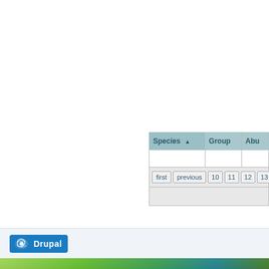| Species ▲ | Group | Abu… |
| --- | --- | --- |
|  |  |  |
first  previous  10  11  12  13
[Figure (logo): Drupal CMS logo — blue rounded rectangle with white Drupal drop icon and 'Drupal' text in white]